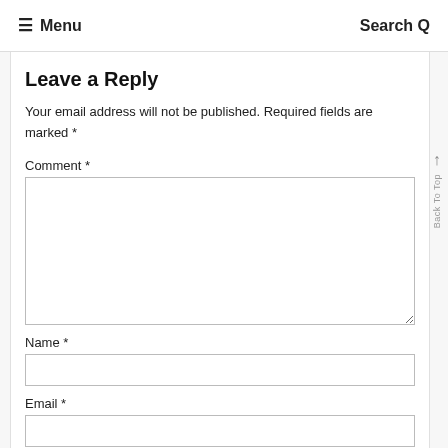≡ Menu    Search Q
Leave a Reply
Your email address will not be published. Required fields are marked *
Comment *
Name *
Email *